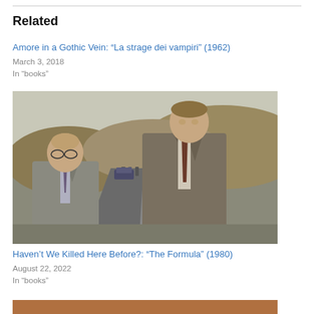Related
Amore in a Gothic Vein: “La strage dei vampiri” (1962)
March 3, 2018
In “books”
[Figure (photo): Two men in suits walking on a road with a desert hillside background. A police officer and vehicles are visible in the background.]
Haven’t We Killed Here Before?: “The Formula” (1980)
August 22, 2022
In “books”